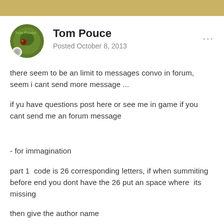Tom Pouce
Posted October 8, 2013
there seem to be an limit to messages convo in forum, seem i cant send more message ...
if yu have questions post here or see me in game if you cant send me an forum message
- for immagination
part 1  code is 26 corresponding letters, if when summiting before end you dont have the 26 put an space where  its missing
then give the author name
part 2  place bloc in order to recover an poem then